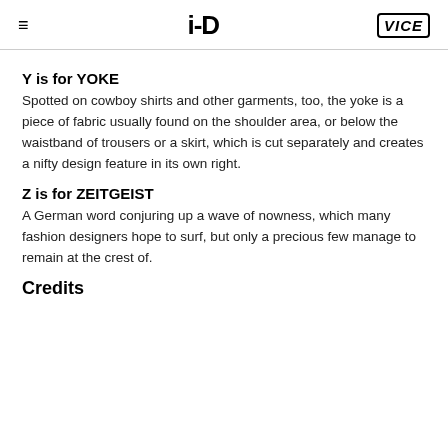≡  i-D  VICE
Y is for YOKE
Spotted on cowboy shirts and other garments, too, the yoke is a piece of fabric usually found on the shoulder area, or below the waistband of trousers or a skirt, which is cut separately and creates a nifty design feature in its own right.
Z is for ZEITGEIST
A German word conjuring up a wave of nowness, which many fashion designers hope to surf, but only a precious few manage to remain at the crest of.
Credits